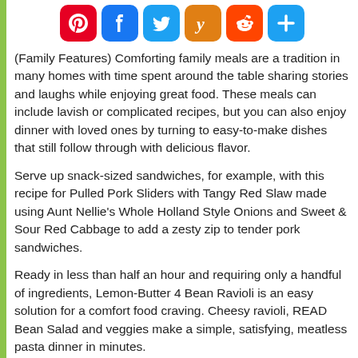[Figure (infographic): Social media sharing icons: Pinterest (red), Facebook (blue), Twitter (light blue), Yummly (orange), Reddit (orange-red), Share/plus (light blue)]
(Family Features) Comforting family meals are a tradition in many homes with time spent around the table sharing stories and laughs while enjoying great food. These meals can include lavish or complicated recipes, but you can also enjoy dinner with loved ones by turning to easy-to-make dishes that still follow through with delicious flavor.
Serve up snack-sized sandwiches, for example, with this recipe for Pulled Pork Sliders with Tangy Red Slaw made using Aunt Nellie's Whole Holland Style Onions and Sweet & Sour Red Cabbage to add a zesty zip to tender pork sandwiches.
Ready in less than half an hour and requiring only a handful of ingredients, Lemon-Butter 4 Bean Ravioli is an easy solution for a comfort food craving. Cheesy ravioli, READ Bean Salad and veggies make a simple, satisfying, meatless pasta dinner in minutes.
Visit auntnellies.com and READsalads.com for more easy family